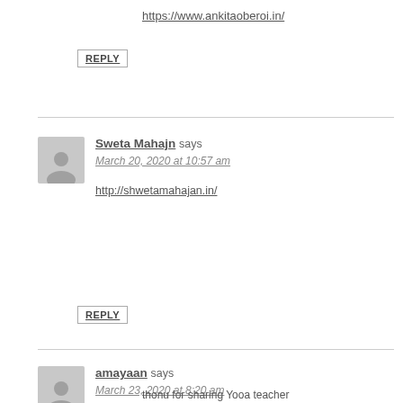https://www.ankitaoberoi.in/
REPLY
Sweta Mahajn says
March 20, 2020 at 10:57 am
http://shwetamahajan.in/
REPLY
amayaan says
March 23, 2020 at 8:20 am
thonu for sharing Yooa teacher